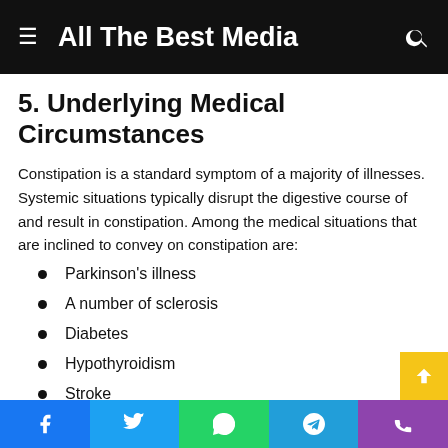All The Best Media
5. Underlying Medical Circumstances
Constipation is a standard symptom of a majority of illnesses. Systemic situations typically disrupt the digestive course of and result in constipation. Among the medical situations that are inclined to convey on constipation are:
Parkinson's illness
A number of sclerosis
Diabetes
Hypothyroidism
Stroke
Facebook | Twitter | WhatsApp | Telegram | Phone